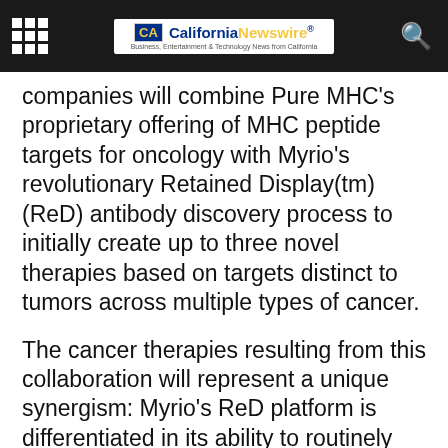California Newswire® — Business, Entertainment & Technology News from California
companies will combine Pure MHC's proprietary offering of MHC peptide targets for oncology with Myrio's revolutionary Retained Display(tm) (ReD) antibody discovery process to initially create up to three novel therapies based on targets distinct to tumors across multiple types of cancer.
The cancer therapies resulting from this collaboration will represent a unique synergism: Myrio's ReD platform is differentiated in its ability to routinely identify antibodies that bind to peptides from intracellular proteins presented on the cell surface by major histocompatibility complex (MHC), and Pure MHC is unaddled by in th